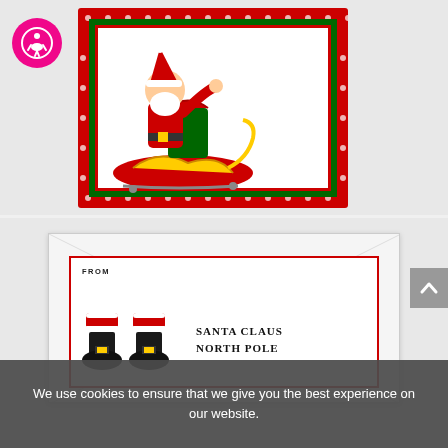[Figure (illustration): Santa Claus in a sleigh with gifts, on a red background with white polka dots and green border — Christmas card design]
[Figure (illustration): A printable envelope template with a red border inner box, Santa boots illustration on the left, and 'SANTA CLAUS NORTH POLE' address text on the right. 'FROM' label in top-left of the red box. Envelope has diagonal fold lines visible.]
We use cookies to ensure that we give you the best experience on our website.